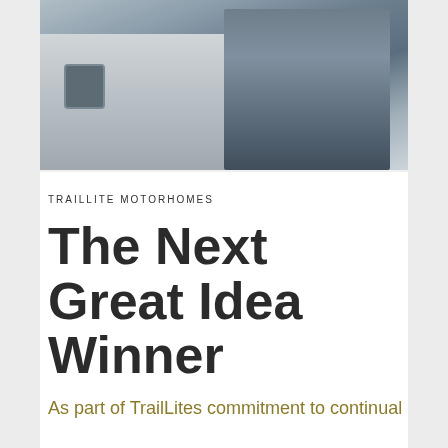[Figure (photo): Two people standing beside a TrailLite motorhome, photographed from outside. The motorhome is silver/grey with a rectangular window visible. One person appears to be in a blue jacket and jeans, the other in a light blue shirt and dark trousers.]
TRAILLITE MOTORHOMES
The Next Great Idea Winner
As part of TrailLites commitment to continual improvement and producing a product that's designed...